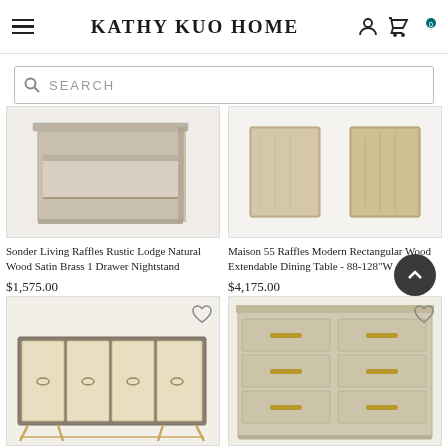KATHY KUO HOME
SEARCH
[Figure (photo): Sonder Living Raffles Rustic Lodge Natural Wood Satin Brass 1 Drawer Nightstand product image - light wood nightstand with open shelf]
Sonder Living Raffles Rustic Lodge Natural Wood Satin Brass 1 Drawer Nightstand
$1,575.00
[Figure (photo): Maison 55 Raffles Modern Rectangular Wood Extendable Dining Table product image - detail shots of table edge]
Maison 55 Raffles Modern Rectangular Wood Extendable Dining Table - 88-128"W
$4,175.00
[Figure (photo): Bottom left product image - credenza/sideboard with woven cane panel doors and gold/brass metal base]
[Figure (photo): Bottom right product image - light wood dresser with multiple drawers and brass hardware]